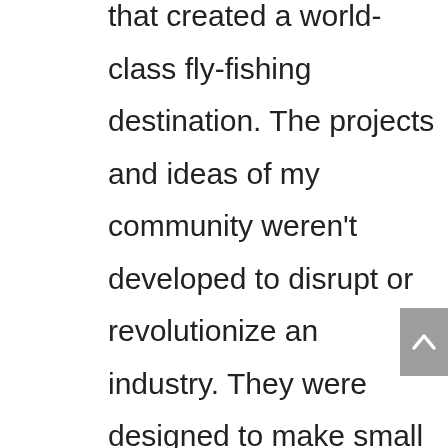that created a world-class fly-fishing destination. The projects and ideas of my community weren't developed to disrupt or revolutionize an industry. They were designed to make small positive contributions to the quality of local life.

Now when I hear someone say “flyover country,” I grimace at the term. How do I begin to tell my friends of all the interesting aspects of my community, even though I want to? How can I convince them that my town and all rural communities deserve more